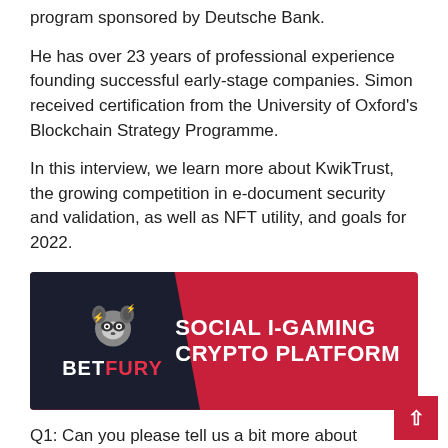program sponsored by Deutsche Bank.
He has over 23 years of professional experience founding successful early-stage companies. Simon received certification from the University of Oxford's Blockchain Strategy Programme.
In this interview, we learn more about KwikTrust, the growing competition in e-document security and validation, as well as NFT utility, and goals for 2022.
[Figure (illustration): BetFury banner advertisement showing a raccoon mascot logo on a dark navy background on the left and bold white text 'SOCIAL I-GAMING CRYPTO PLATFORM' on a red background on the right.]
Q1: Can you please tell us a bit more about yourself and the inspiration behind KwikTrust.